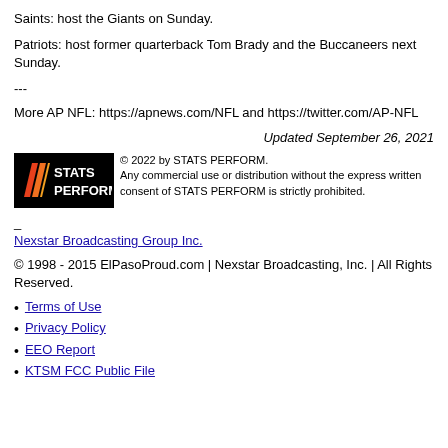Saints: host the Giants on Sunday.
Patriots: host former quarterback Tom Brady and the Buccaneers next Sunday.
---
More AP NFL: https://apnews.com/NFL and https://twitter.com/AP-NFL
Updated September 26, 2021
[Figure (logo): STATS PERFORM logo with colored slash marks on black background]
© 2022 by STATS PERFORM. Any commercial use or distribution without the express written consent of STATS PERFORM is strictly prohibited.
Nexstar Broadcasting Group Inc.
© 1998 - 2015 ElPasoProud.com | Nexstar Broadcasting, Inc. | All Rights Reserved.
Terms of Use
Privacy Policy
EEO Report
KTSM FCC Public File